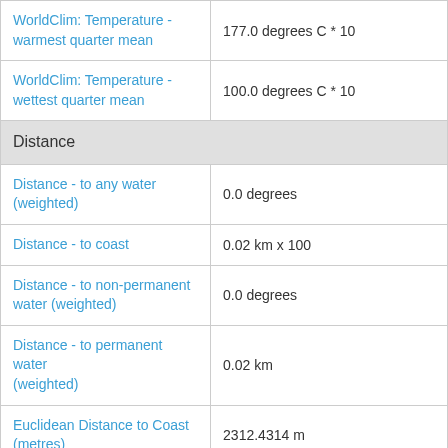| Variable | Unit/Value |
| --- | --- |
| WorldClim: Temperature - warmest quarter mean | 177.0 degrees C * 10 |
| WorldClim: Temperature - wettest quarter mean | 100.0 degrees C * 10 |
| Distance |  |
| Distance - to any water (weighted) | 0.0 degrees |
| Distance - to coast | 0.02 km x 100 |
| Distance - to non-permanent water (weighted) | 0.0 degrees |
| Distance - to permanent water (weighted) | 0.02 km |
| Euclidean Distance to Coast (metres) | 2312.4314 m |
| Remoteness index | 1.3843316 |
| Hydrology |  |
| Drainage - average | 5644.0 megalitres/5x5km/year |